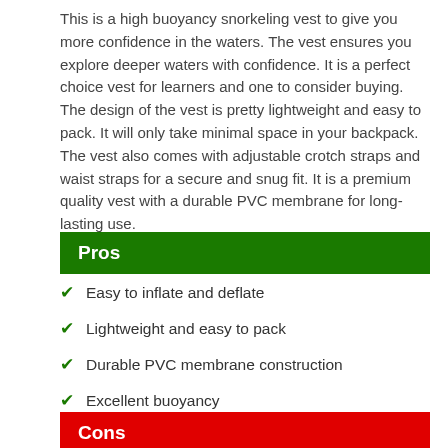This is a high buoyancy snorkeling vest to give you more confidence in the waters. The vest ensures you explore deeper waters with confidence. It is a perfect choice vest for learners and one to consider buying. The design of the vest is pretty lightweight and easy to pack. It will only take minimal space in your backpack. The vest also comes with adjustable crotch straps and waist straps for a secure and snug fit. It is a premium quality vest with a durable PVC membrane for long-lasting use.
Pros
Easy to inflate and deflate
Lightweight and easy to pack
Durable PVC membrane construction
Excellent buoyancy
Cons
Waist size is small for big persons